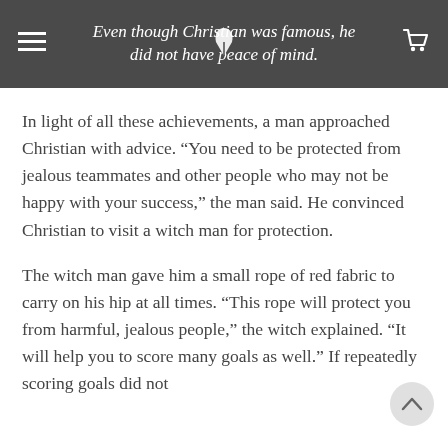Even though Christian was famous, he did not have peace of mind.
In light of all these achievements, a man approached Christian with advice. “You need to be protected from jealous teammates and other people who may not be happy with your success,” the man said. He convinced Christian to visit a witch man for protection.
The witch man gave him a small rope of red fabric to carry on his hip at all times. “This rope will protect you from harmful, jealous people,” the witch explained. “It will help you to score many goals as well.” If repeatedly scoring goals did not